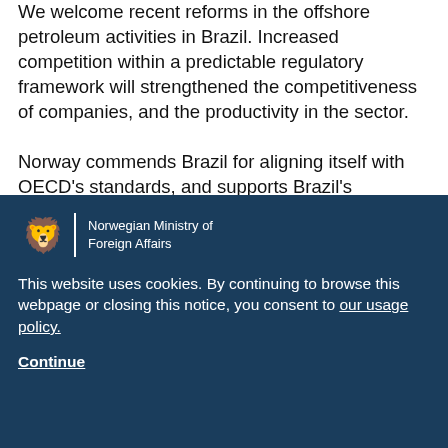We welcome recent reforms in the offshore petroleum activities in Brazil. Increased competition within a predictable regulatory framework will strengthened the competitiveness of companies, and the productivity in the sector.

Norway commends Brazil for aligning itself with OECD's standards, and supports Brazil's accession to the OECD.
[Figure (logo): Norwegian Ministry of Foreign Affairs logo with lion crest and vertical divider]
Norwegian Ministry of Foreign Affairs
This website uses cookies. By continuing to browse this webpage or closing this notice, you consent to our usage policy.
Continue